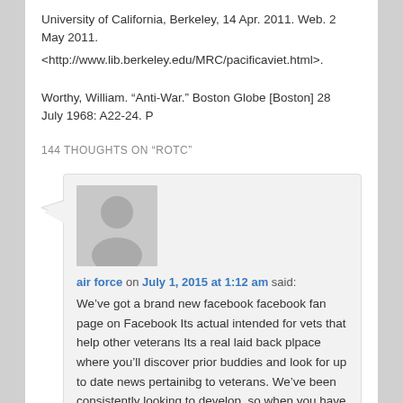University of California, Berkeley, 14 Apr. 2011. Web. 2 May 2011.
<http://www.lib.berkeley.edu/MRC/pacificaviet.html>.
Worthy, William. “Anti-War.” Boston Globe [Boston] 28 July 1968: A22-24. P
144 THOUGHTS ON “ROTC”
air force on July 1, 2015 at 1:12 am said:
We’ve got a brand new facebook facebook fan page on Facebook Its actual intended for vets that help other veterans Its a real laid back plpace where you’ll discover prior buddies and look for up to date news pertainibg to veterans. We’ve been consistently looking to develop, so when you have got feed back we would wish